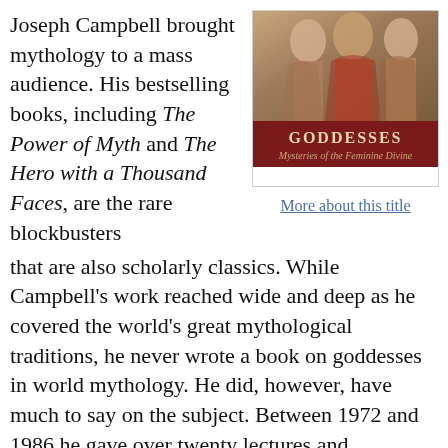Joseph Campbell brought mythology to a mass audience. His bestselling books, including The Power of Myth and The Hero with a Thousand Faces, are the rare blockbusters
[Figure (illustration): Book cover of 'Goddesses: Mysteries of the Feminine Divine' with a dark red banner title bar and figures in classical art style above]
More about this title
that are also scholarly classics. While Campbell's work reached wide and deep as he covered the world's great mythological traditions, he never wrote a book on goddesses in world mythology. He did, however, have much to say on the subject. Between 1972 and 1986 he gave over twenty lectures and workshops on goddesses, exploring the figures, functions, symbols, and themes of the feminine divine, following them through their transformations across cultures and epochs. Editor Safron Rossi, a goddess studies scholar and professor of mythology, collected these lectures to create Goddesses. In this